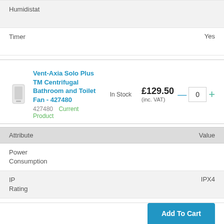| Attribute | Value |
| --- | --- |
| Humidistat |  |
| Timer | Yes |
Vent-Axia Solo Plus TM Centrifugal Bathroom and Toilet Fan - 427480
427480   Current Product
In Stock
£129.50 (inc. VAT)
| Attribute | Value |
| --- | --- |
| Power Consumption |  |
| IP Rating | IPX4 |
| Noise Level Maximum |  |
| Humidistat |  |
| Timer |  |
Add To Cart